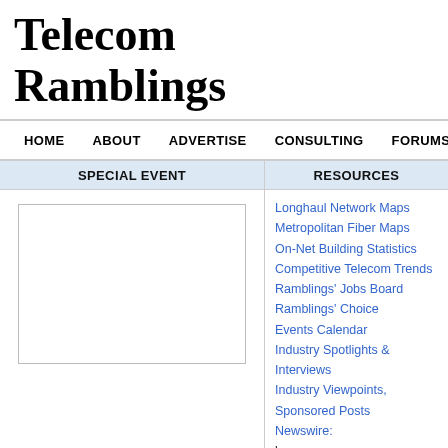Telecom Ramblings
HOME  ABOUT  ADVERTISE  CONSULTING  FORUMS  JOBS  CO...
SPECIAL EVENT
RESOURCES
Longhaul Network Maps
Metropolitan Fiber Maps
On-Net Building Statistics
Competitive Telecom Trends
Ramblings' Jobs Board
Ramblings' Choice
Events Calendar
Industry Spotlights & Interviews
Industry Viewpoints, Sponsored Posts
Newswire: by Date, Company, Subject
Press Releases for Global Crossing
May 3, 2011 — Global Crossing Announces First Quarter 2...
May 2, 2011 — Oxford Aviation Academy Grows with Man...